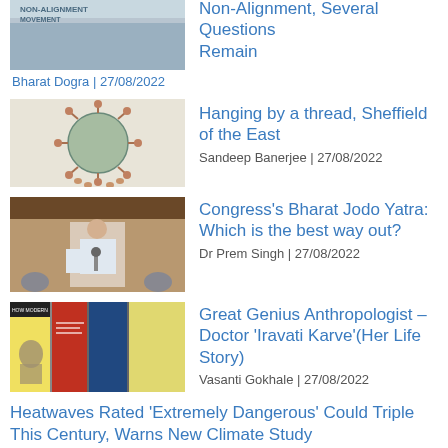[Figure (photo): Thumbnail image with 'NON-ALIGNMENT MOVEMENT' text]
Non-Alignment, Several Questions Remain
Bharat Dogra | 27/08/2022
[Figure (illustration): Globe-like virus illustration thumbnail]
Hanging by a thread, Sheffield of the East
Sandeep Banerjee | 27/08/2022
[Figure (photo): Person speaking at a podium, Congress event]
Congress's Bharat Jodo Yatra: Which is the best way out?
Dr Prem Singh | 27/08/2022
[Figure (photo): Book cover thumbnail for Iravati Karve]
Great Genius Anthropologist – Doctor 'Iravati Karve'(Her Life Story)
Vasanti Gokhale | 27/08/2022
Heatwaves Rated 'Extremely Dangerous' Could Triple This Century, Warns New Climate Study